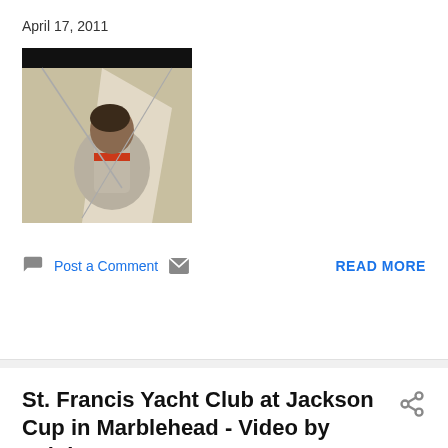April 17, 2011
[Figure (photo): A person on a sailing boat, wearing a grey jacket with red stripes, viewed from behind/side. Dark bar across the top of the image.]
Post a Comment
READ MORE
St. Francis Yacht Club at Jackson Cup in Marblehead - Video by Leighton O'Connor
April 17, 2011
[Figure (photo): Partial thumbnail image with dark bar at top, colorful content below (red, white, blue colors visible).]